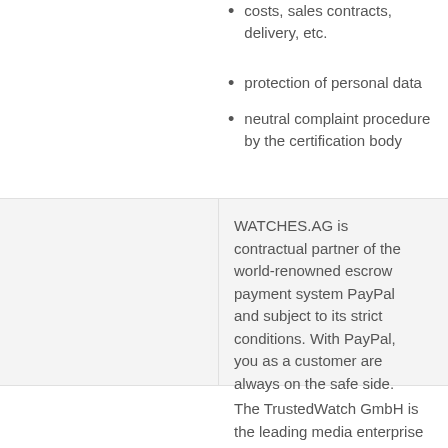costs, sales contracts, delivery, etc.
protection of personal data
neutral complaint procedure by the certification body
WATCHES.AG is contractual partner of the world-renowned escrow payment system PayPal and subject to its strict conditions. With PayPal, you as a customer are always on the safe side.
The TrustedWatch GmbH is the leading media enterprise for the watch and jewelery sector in Europe. The new label "Buyers Beware" and "Trusted Dealer" from TrustedWatch indicate not only his regular customers but just interested new customers reliability and